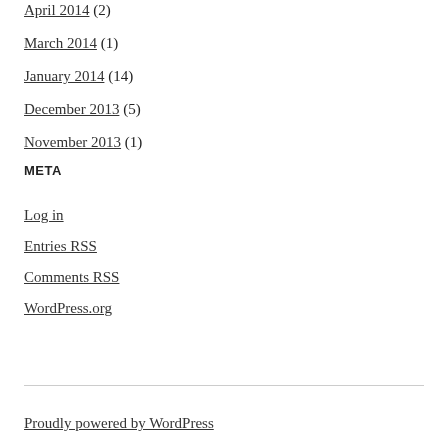April 2014 (2)
March 2014 (1)
January 2014 (14)
December 2013 (5)
November 2013 (1)
META
Log in
Entries RSS
Comments RSS
WordPress.org
Proudly powered by WordPress